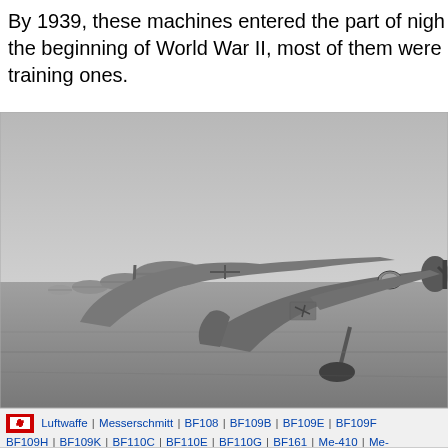By 1939, these machines entered the part of night the beginning of World War II, most of them were training ones.
[Figure (photo): Black and white historical photograph showing a row of Messerschmitt fighter aircraft lined up on an airfield tarmac, viewed from the side at an angle. The planes are parked closely together receding into the distance.]
Luftwaffe | Messerschmitt | BF108 | BF109B | BF109E | BF109F | BF109H | BF109K | BF110C | BF110E | BF110G | BF161 | Me-410 | Me- Me-262A-1a | Me-262A-2a | Me-262B | Me-262C | Me-264 | 1101 | Me-3 Drawings |